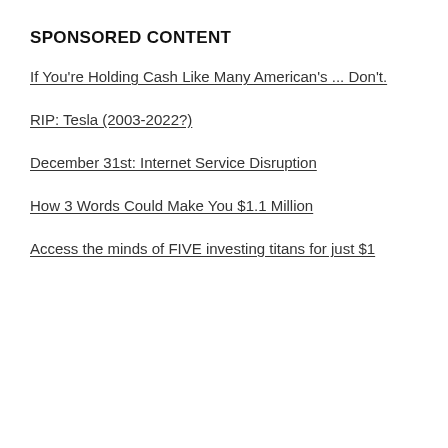SPONSORED CONTENT
If You're Holding Cash Like Many American's ... Don't.
RIP: Tesla (2003-2022?)
December 31st: Internet Service Disruption
How 3 Words Could Make You $1.1 Million
Access the minds of FIVE investing titans for just $1